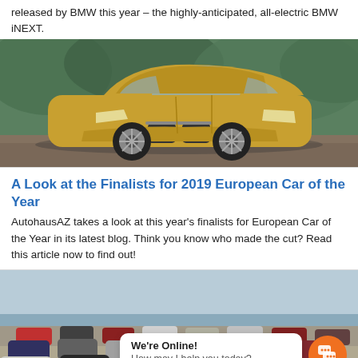released by BMW this year – the highly-anticipated, all-electric BMW iNEXT.
[Figure (photo): BMW iNEXT all-electric concept SUV in gold/bronze color on a road with green foliage background]
A Look at the Finalists for 2019 European Car of the Year
AutohausAZ takes a look at this year's finalists for European Car of the Year in its latest blog. Think you know who made the cut? Read this article now to find out!
[Figure (photo): Group photo of multiple European Car of the Year finalist vehicles arranged on a beach/coastal area, with a chat widget overlay saying 'We're Online! How may I help you today?']